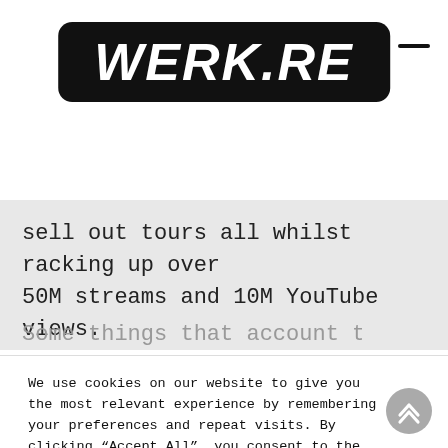[Figure (logo): WERK.RE logo in white bold italic text on black rounded rectangle]
sell out tours all whilst racking up over 50M streams and 10M YouTube views.
We use cookies on our website to give you the most relevant experience by remembering your preferences and repeat visits. By clicking “Accept All”, you consent to the use of ALL the cookies. However, you may visit “Cookie Settings” to provide a controlled consent.
Cookie Settings
Accept All